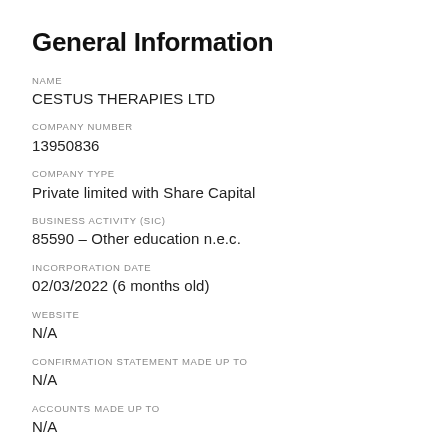General Information
NAME
CESTUS THERAPIES LTD
COMPANY NUMBER
13950836
COMPANY TYPE
Private limited with Share Capital
BUSINESS ACTIVITY (SIC)
85590 – Other education n.e.c.
INCORPORATION DATE
02/03/2022 (6 months old)
WEBSITE
N/A
CONFIRMATION STATEMENT MADE UP TO
N/A
ACCOUNTS MADE UP TO
N/A
KEEP INFORMED